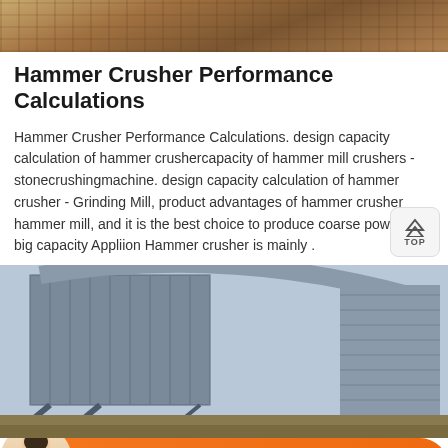[Figure (photo): Top portion of a sandy/rocky terrain with construction equipment visible at top edge]
Hammer Crusher Performance Calculations
Hammer Crusher Performance Calculations. design capacity calculation of hammer crushercapacity of hammer mill crushers - stonecrushingmachine. design capacity calculation of hammer crusher - Grinding Mill, product advantages of hammer crusher hammer mill, and it is the best choice to produce coarse powder at big capacity Appliion Hammer crusher is mainly .
[Figure (photo): Industrial hammer crusher equipment - large metal structures with corrugated panels and steel framework outdoors]
[Figure (other): Orange chat bar at bottom with Message button on left and Online Chat button on right, with customer service representative image]